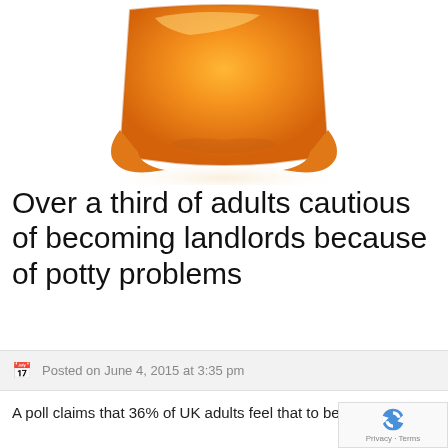[Figure (photo): Orange plastic potty/toilet training seat photographed from above against a white background, cropped showing mostly the bottom half of the potty.]
Over a third of adults cautious of becoming landlords because of potty problems
Posted on June 4, 2015 at 3:35 pm
A poll claims that 36% of UK adults feel that to become a buy-to-let landlord is 'extremely risky'.